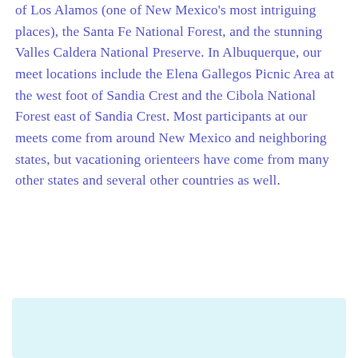of Los Alamos (one of New Mexico's most intriguing places), the Santa Fe National Forest, and the stunning Valles Caldera National Preserve. In Albuquerque, our meet locations include the Elena Gallegos Picnic Area at the west foot of Sandia Crest and the Cibola National Forest east of Sandia Crest. Most participants at our meets come from around New Mexico and neighboring states, but vacationing orienteers have come from many other states and several other countries as well.
[Figure (other): Light blue rectangular image block at the bottom of the page]